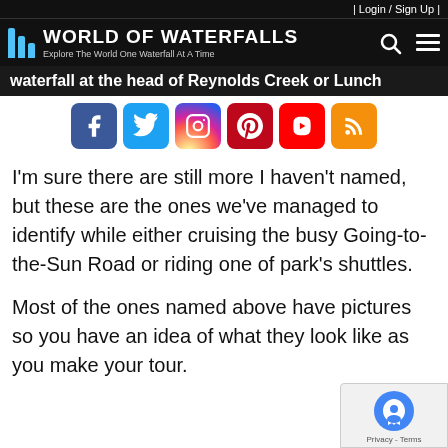| Login / Sign Up |
World of Waterfalls — Explore The World One Waterfall At A Time
waterfall at the head of Reynolds Creek or Lunch
[Figure (infographic): Social media share buttons: Facebook, Twitter, Instagram, Pinterest, YouTube, RSS]
I'm sure there are still more I haven't named, but these are the ones we've managed to identify while either cruising the busy Going-to-the-Sun Road or riding one of park's shuttles.
Most of the ones named above have pictures so you have an idea of what they look like as you make your tour.